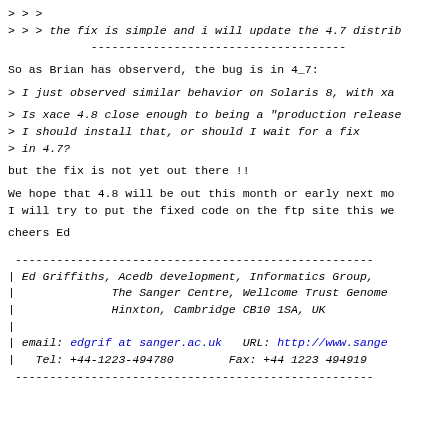> > >
> > > the fix is simple and i will update the 4.7 distrib
--------------------------------------------
So as Brian has observerd, the bug is in 4_7:
> I just observed similar behavior on Solaris 8, with xa
> Is xace 4.8 close enough to being a "production release
> I should install that, or should I wait for a fix
> in 4.7?
but the fix is not yet out there !!
We hope that 4.8 will be out this month or early next mo
I will try to put the fixed code on the ftp site this we
cheers Ed
| Ed Griffiths, Acedb development, Informatics Group,
|              The Sanger Centre, Wellcome Trust Genome
|              Hinxton, Cambridge CB10 1SA, UK
|
| email: edgrif at sanger.ac.uk   URL: http://www.sange
|   Tel: +44-1223-494780        Fax: +44 1223 494919